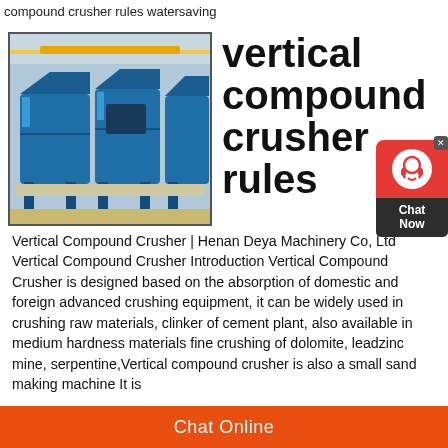compound crusher rules watersaving
[Figure (photo): Industrial blue vertical compound crusher machines on factory floor]
vertical compound crusher rules
Vertical Compound Crusher | Henan Deya Machinery Co, Ltd Vertical Compound Crusher Introduction Vertical Compound Crusher is designed based on the absorption of domestic and foreign advanced crushing equipment, it can be widely used in crushing raw materials, clinker of cement plant, also available in medium hardness materials fine crushing of dolomite, leadzinc mine, serpentine,Vertical compound crusher is also a small sand making machine It is
Chat Online